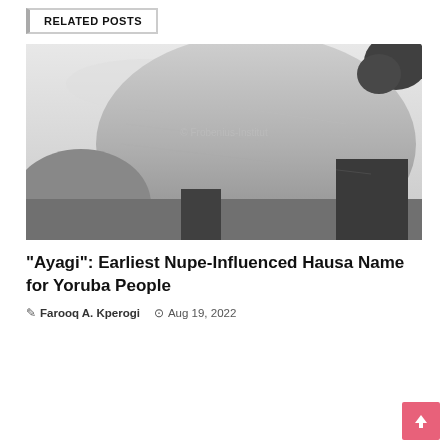RELATED POSTS
[Figure (photo): Black and white historical photograph of thatched-roof buildings, likely African village structures, with a large rounded thatched roof dominating the center, dark structures on left and right, sky above, and tree foliage visible at top right. Watermark reads '© Frobenius-Institut'.]
“Ayagi”: Earliest Nupe-Influenced Hausa Name for Yoruba People
Farooq A. Kperogi   Aug 19, 2022